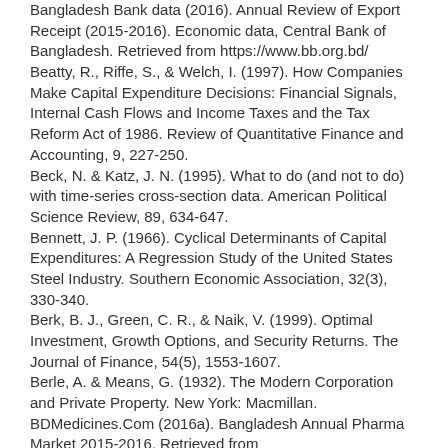Bangladesh Bank data (2016). Annual Review of Export Receipt (2015-2016). Economic data, Central Bank of Bangladesh. Retrieved from https://www.bb.org.bd/
Beatty, R., Riffe, S., & Welch, I. (1997). How Companies Make Capital Expenditure Decisions: Financial Signals, Internal Cash Flows and Income Taxes and the Tax Reform Act of 1986. Review of Quantitative Finance and Accounting, 9, 227-250.
Beck, N. & Katz, J. N. (1995). What to do (and not to do) with time-series cross-section data. American Political Science Review, 89, 634-647.
Bennett, J. P. (1966). Cyclical Determinants of Capital Expenditures: A Regression Study of the United States Steel Industry. Southern Economic Association, 32(3), 330-340.
Berk, B. J., Green, C. R., & Naik, V. (1999). Optimal Investment, Growth Options, and Security Returns. The Journal of Finance, 54(5), 1553-1607.
Berle, A. & Means, G. (1932). The Modern Corporation and Private Property. New York: Macmillan.
BDMedicines.Com (2016a). Bangladesh Annual Pharma Market 2015-2016. Retrieved from http://www.bdmedicines.com
BDMedicines.Com (2016b). Bangladesh Pharmaceutical